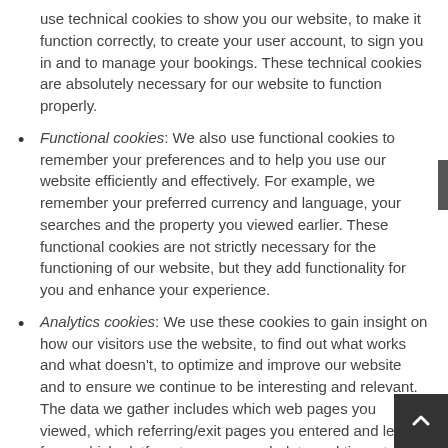use technical cookies to show you our website, to make it function correctly, to create your user account, to sign you in and to manage your bookings. These technical cookies are absolutely necessary for our website to function properly.
Functional cookies: We also use functional cookies to remember your preferences and to help you use our website efficiently and effectively. For example, we remember your preferred currency and language, your searches and the property you viewed earlier. These functional cookies are not strictly necessary for the functioning of our website, but they add functionality for you and enhance your experience.
Analytics cookies: We use these cookies to gain insight on how our visitors use the website, to find out what works and what doesn't, to optimize and improve our website and to ensure we continue to be interesting and relevant. The data we gather includes which web pages you viewed, which referring/exit pages you entered and left from, which platform type you used, date and time stamp information and other such as the number of clicks you make on a given page, your mouse movements and scrolling activity, the search